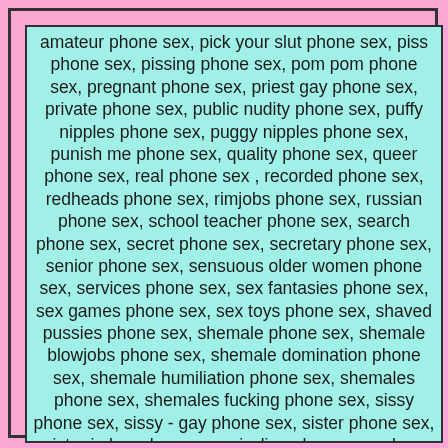amateur phone sex, pick your slut phone sex, piss phone sex, pissing phone sex, pom pom phone sex, pregnant phone sex, priest gay phone sex, private phone sex, public nudity phone sex, puffy nipples phone sex, puggy nipples phone sex, punish me phone sex, quality phone sex, queer phone sex, real phone sex , recorded phone sex, redheads phone sex, rimjobs phone sex, russian phone sex, school teacher phone sex, search phone sex, secret phone sex, secretary phone sex, senior phone sex, sensuous older women phone sex, services phone sex, sex fantasies phone sex, sex games phone sex, sex toys phone sex, shaved pussies phone sex, shemale phone sex, shemale blowjobs phone sex, shemale domination phone sex, shemale humiliation phone sex, shemales phone sex, shemales fucking phone sex, sissy phone sex, sissy - gay phone sex, sister phone sex, sister in law phone sex, sizzling phone sex, slave phone sex , slut phone sex, sluts phone sex, small penis phone sex, smoking phone sex, snap chat, spanish phone sex, spanking phone sex, strap on phone sex, street whores phone sex, studs phone sex, submissive phone sex, sucking cock phone sex, suck my jizz gay phone sex, swallowing cum phone sex, swingers phone sex, talk